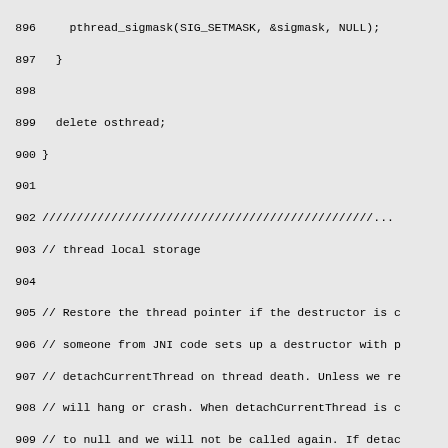Source code listing, lines 896-925, showing C++ thread local storage implementation including pthread_sigmask, delete osthread, restore_thread_pointer, os::allocate_thread_local_storage, and os::free_thread_local_storage functions.